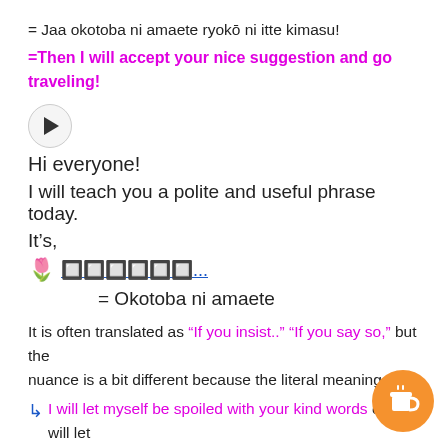= Jaa okotoba ni amaete ryokō ni itte kimasu!
=Then I will accept your nice suggestion and go traveling!
[Figure (other): Audio play button - circular gray button with play triangle]
Hi everyone!
I will teach you a polite and useful phrase today.
It's,
🌟 [Japanese text]...
= Okotoba ni amaete
It is often translated as "If you insist.." "If you say so," but the nuance is a bit different because the literal meaning
↳ I will let myself be spoiled with your kind words or I will let